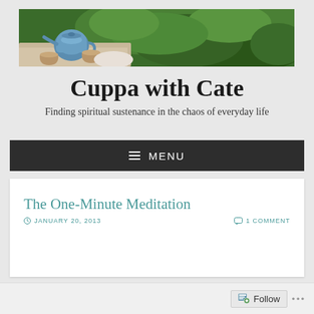[Figure (photo): Banner photo showing a blue teapot and two small clay cups on a table with lush green leafy plants in the background]
Cuppa with Cate
Finding spiritual sustenance in the chaos of everyday life
≡ MENU
The One-Minute Meditation
JANUARY 20, 2013   1 COMMENT
Follow ...